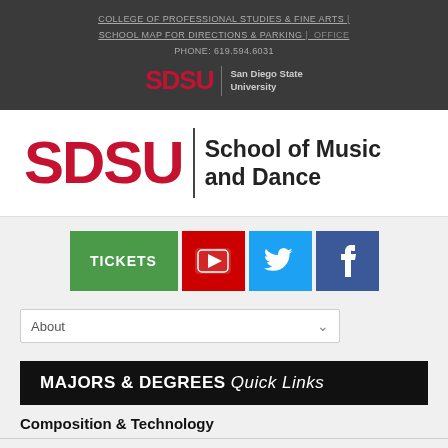COLLEGE OF PROFESSIONAL STUDIES & FINE ARTS | SCHOOL MAP FOR DIRECTIONS & PARKING | OFFICE PHONE: 619.594.6031
[Figure (logo): SDSU San Diego State University logo in header]
[Figure (logo): SDSU School of Music and Dance large logo]
[Figure (infographic): TICKETS button, YouTube, Twitter, Facebook social media icons]
About (dropdown)
MAJORS & DEGREES Quick Links
Composition & Technology
Conducting